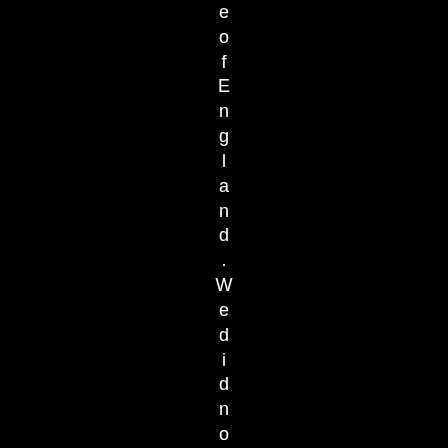e o f E n g l a n d . W e d i d n o t h a d m u c h